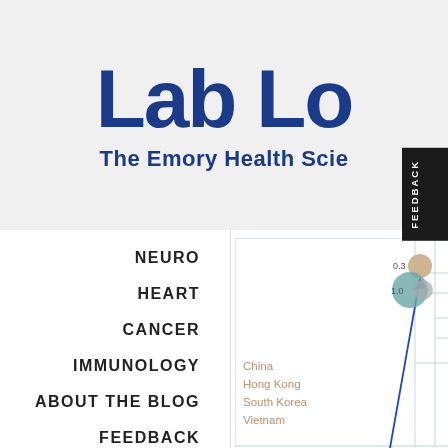Lab Lo
The Emory Health Scie
NEURO
HEART
CANCER
IMMUNOLOGY
ABOUT THE BLOG
FEEDBACK
[Figure (other): Partial screenshot of an interactive bubble/scatter chart with circles and tree lines, showing country labels: China, Hong Kong, South Korea, Vietnam, with value annotations 0.3 and 1.0, and a blue arrow line]